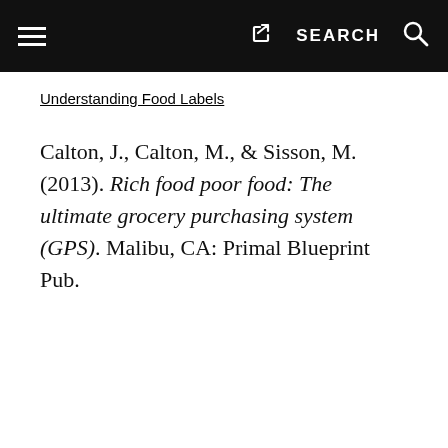Understanding Food Labels
Calton, J., Calton, M., & Sisson, M. (2013). Rich food poor food: The ultimate grocery purchasing system (GPS). Malibu, CA: Primal Blueprint Pub.